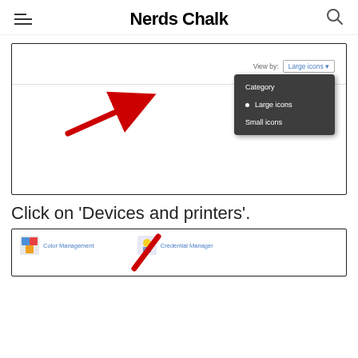Nerds Chalk
[Figure (screenshot): Windows Control Panel screenshot showing 'View by' dropdown menu with options: Category, Large icons (selected, with bullet point), Small icons. A red arrow points to 'Large icons'. The View by label shows 'Large icons' in blue text.]
Click on ‘Devices and printers’.
[Figure (screenshot): Bottom portion of Windows Control Panel showing icons including Color Management and Credential Manager with a partial red arrow visible.]